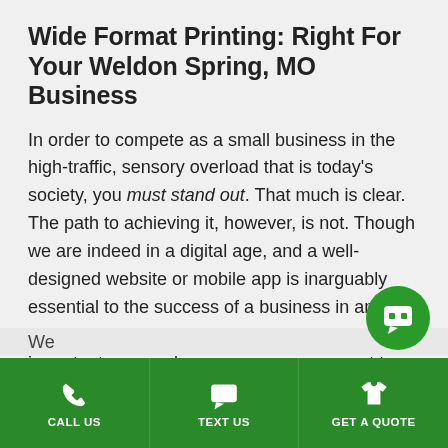Wide Format Printing: Right For Your Weldon Spring, MO Business
In order to compete as a small business in the high-traffic, sensory overload that is today's society, you must stand out. That much is clear. The path to achieving it, however, is not. Though we are indeed in a digital age, and a well-designed website or mobile app is inarguably essential to the success of a business in any industry, the physical experience is still an important one, and a necessary component to marketing your business. With wide format printing, you will be hard to ignore.
CALL US | TEXT US | GET A QUOTE